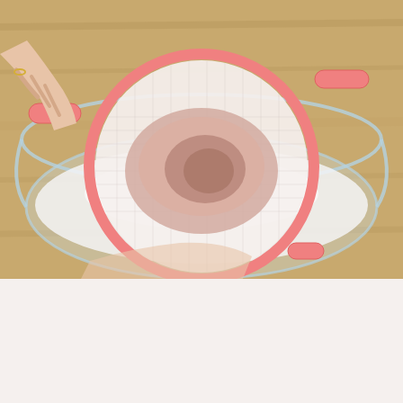[Figure (photo): Overhead view of a person sifting flour through a pink mesh sieve into a clear glass mixing bowl on a wooden surface. The bowl contains white sugar/flour and the sieve has pink/brown flour mixture being sifted.]
Step 2: Next add 1/4 teaspoon of salt to the mixing bowl, and slowly pour in 40ml of warm water while mixing with the flour.